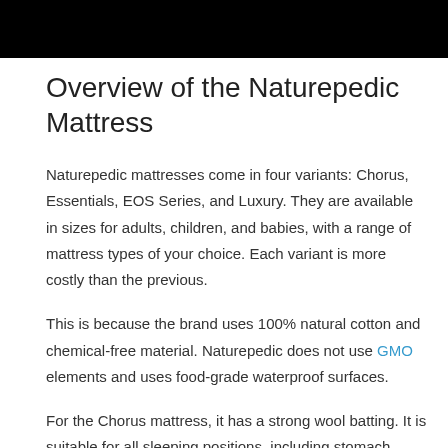[Figure (other): Black banner/header bar at top of page]
Overview of the Naturepedic Mattress
Naturepedic mattresses come in four variants: Chorus, Essentials, EOS Series, and Luxury. They are available in sizes for adults, children, and babies, with a range of mattress types of your choice. Each variant is more costly than the previous.
This is because the brand uses 100% natural cotton and chemical-free material. Naturepedic does not use GMO elements and uses food-grade waterproof surfaces.
For the Chorus mattress, it has a strong wool batting. It is suitable for all sleeping positions, including stomach, back, side and stomach. They consider it a hybrid mattress. The mattress is made